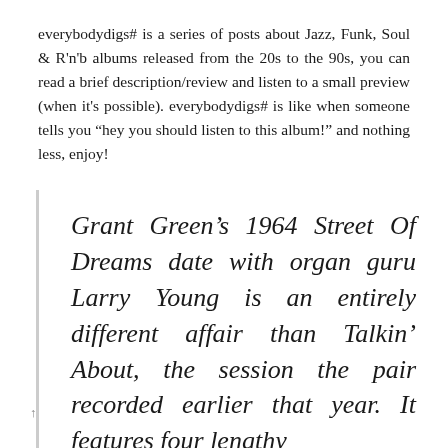everybodydigs# is a series of posts about Jazz, Funk, Soul & R'n'b albums released from the 20s to the 90s, you can read a brief description/review and listen to a small preview (when it's possible). everybodydigs# is like when someone tells you “hey you should listen to this album!” and nothing less, enjoy!
Grant Green’s 1964 Street Of Dreams date with organ guru Larry Young is an entirely different affair than Talkin’ About, the session the pair recorded earlier that year. It features four lengthy